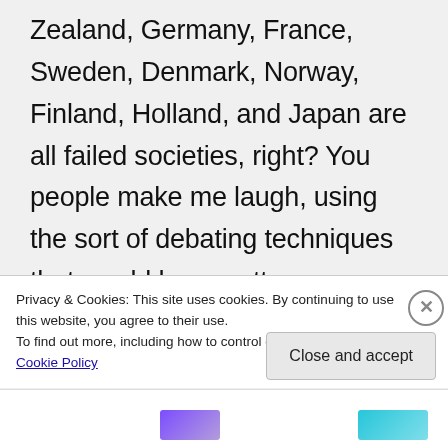Zealand, Germany, France, Sweden, Denmark, Norway, Finland, Holland, and Japan are all failed societies, right? You people make me laugh, using the sort of debating techniques that would have gotten you thrown off of my speech and debate team at SFSU back in the 80s. For example, only citing failed examples of Marxism rather than trying to account for the
Privacy & Cookies: This site uses cookies. By continuing to use this website, you agree to their use.
To find out more, including how to control cookies, see here: Cookie Policy